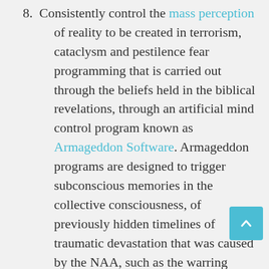8. Consistently control the mass perception of reality to be created in terrorism, cataclysm and pestilence fear programming that is carried out through the beliefs held in the biblical revelations, through an artificial mind control program known as Armageddon Software. Armageddon programs are designed to trigger subconscious memories in the collective consciousness, of previously hidden timelines of traumatic devastation that was caused by the NAA, such as the warring events that took place during the Luciferian Rebellion and Atlantian Catacl... This keeps people in a constant state of survival and poverty consciousness, unable to develop the personal strength required to